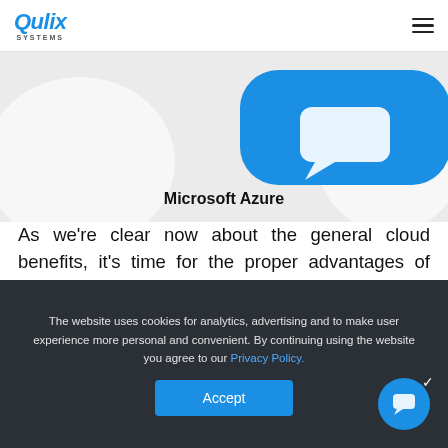Qulix Systems
[Figure (illustration): Microsoft Azure logo illustration: large blue rounded rectangle shape on a light grey background with the text 'Microsoft Azure' in bold below it]
Microsoft Azure
As we're clear now about the general cloud benefits, it's time for the proper advantages of Microsoft Azure as such.
1. Apart from the basic features of an
The website uses cookies for analytics, advertising and to make user experience more personal and convenient. By continuing using the website you agree to our Privacy Policy.